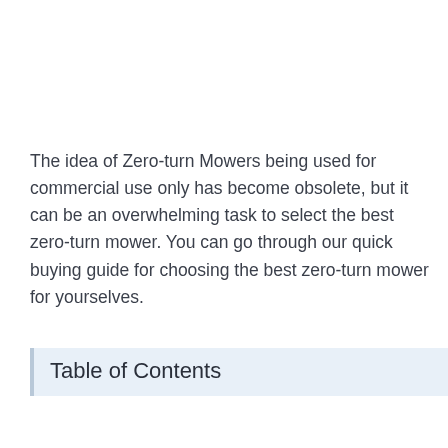The idea of Zero-turn Mowers being used for commercial use only has become obsolete, but it can be an overwhelming task to select the best zero-turn mower. You can go through our quick buying guide for choosing the best zero-turn mower for yourselves.
Table of Contents